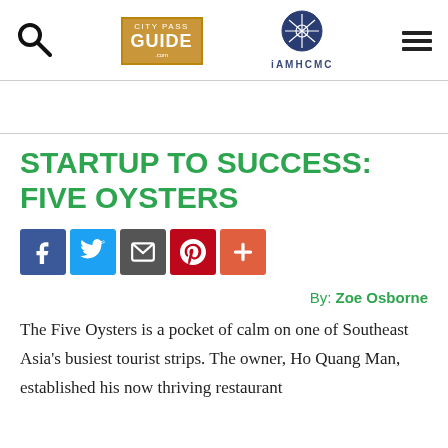City Pass Guide | iAMHCMC
STARTUP TO SUCCESS: FIVE OYSTERS
[Figure (infographic): Social sharing icons: Facebook, Twitter, Email, Pinterest, Plus/More]
By: Zoe Osborne
The Five Oysters is a pocket of calm on one of Southeast Asia's busiest tourist strips. The owner, Ho Quang Man, established his now thriving restaurant